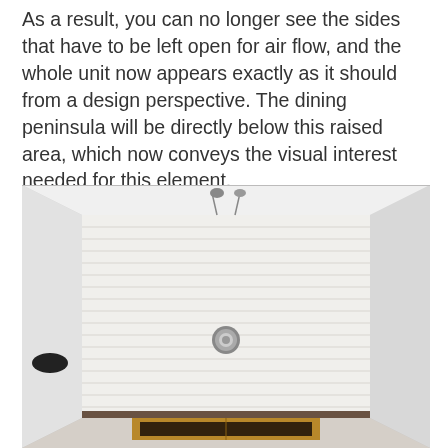As a result, you can no longer see the sides that have to be left open for air flow, and the whole unit now appears exactly as it should from a design perspective. The dining peninsula will be directly below this raised area, which now conveys the visual interest needed for this element.
[Figure (photo): Looking upward at a raised ceiling tray or box feature, showing white horizontal slat paneling inside, a round chrome fixture in the center, a small dark oval recess on the left wall, a wooden frame visible at the bottom, framed by white drywall borders on all sides.]